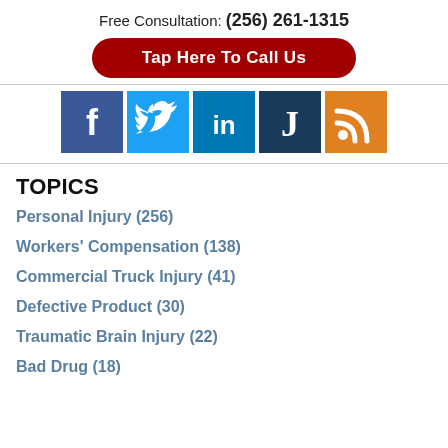Free Consultation: (256) 261-1315
Tap Here To Call Us
[Figure (infographic): Row of social media icons: Facebook (blue), Twitter (light blue), LinkedIn (dark blue), Justia (dark navy blue with J), RSS feed (orange)]
TOPICS
Personal Injury (256)
Workers' Compensation (138)
Commercial Truck Injury (41)
Defective Product (30)
Traumatic Brain Injury (22)
Bad Drug (18)